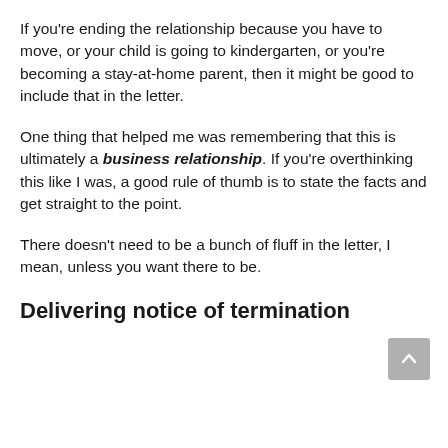If you're ending the relationship because you have to move, or your child is going to kindergarten, or you're becoming a stay-at-home parent, then it might be good to include that in the letter.
One thing that helped me was remembering that this is ultimately a business relationship. If you're overthinking this like I was, a good rule of thumb is to state the facts and get straight to the point.
There doesn't need to be a bunch of fluff in the letter, I mean, unless you want there to be.
Delivering notice of termination